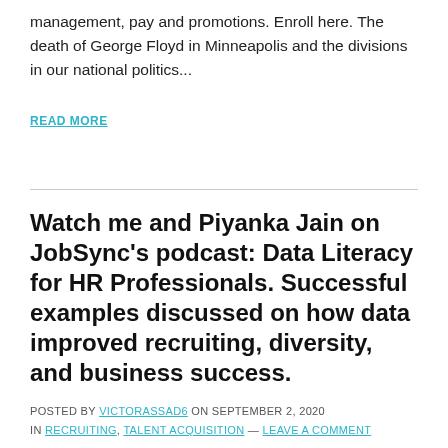management, pay and promotions. Enroll here. The death of George Floyd in Minneapolis and the divisions in our national politics...
READ MORE
Watch me and Piyanka Jain on JobSync’s podcast: Data Literacy for HR Professionals. Successful examples discussed on how data improved recruiting, diversity, and business success.
POSTED BY VICTORASSAD6 ON SEPTEMBER 2, 2020 IN RECRUITING, TALENT ACQUISITION — LEAVE A COMMENT